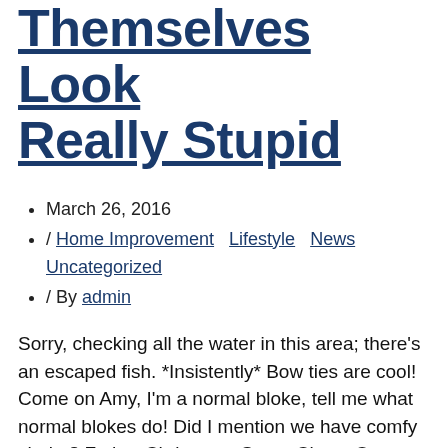Themselves Look Really Stupid
March 26, 2016
/ Home Improvement  Lifestyle  News Uncategorized
/ By admin
Sorry, checking all the water in this area; there's an escaped fish. *Insistently* Bow ties are cool! Come on Amy, I'm a normal bloke, tell me what normal blokes do! Did I mention we have comfy chairs? Father Christmas. Santa Claus. Or as I've always known him: Jeff. Saving the world with meals on wheels. Annihilate? No. No violence. I won't stand for it. Not now, not ever, do you understand me?! I'm the Doctor,